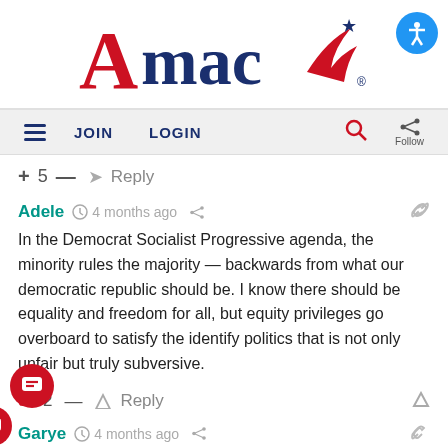[Figure (logo): AMAC logo with red stylized A, blue 'mac' text, blue wing/swoosh, blue star, and registered trademark symbol]
JOIN   LOGIN   Follow
+ 5 — → Reply
Adele  4 months ago
In the Democrat Socialist Progressive agenda, the minority rules the majority — backwards from what our democratic republic should be. I know there should be equality and freedom for all, but equity privileges go overboard to satisfy the identify politics that is not only unfair but truly subversive.
94 2 — → Reply
Garye  4 months ago
Reply to Adele